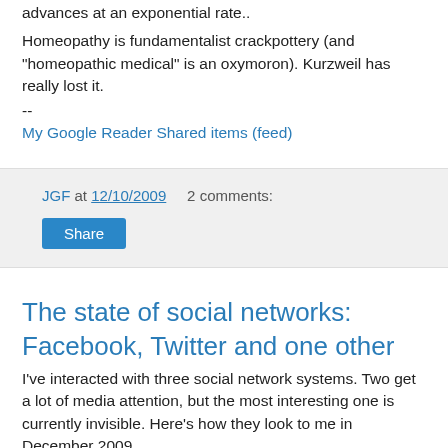advances at an exponential rate..
Homeopathy is fundamentalist crackpottery (and "homeopathic medical" is an oxymoron). Kurzweil has really lost it.
--
My Google Reader Shared items (feed)
JGF at 12/10/2009   2 comments:
Share
The state of social networks: Facebook, Twitter and one other
I've interacted with three social network systems. Two get a lot of media attention, but the most interesting one is currently invisible. Here's how they look to me in December 2009.
Facebook is currently useful, but worrisome. It's useful